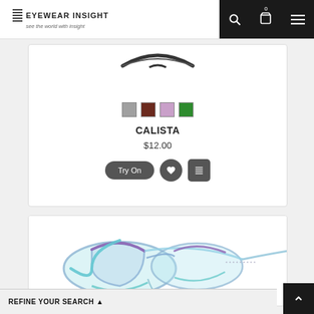EYEWEAR INSIGHT — see the world with insight
[Figure (screenshot): Top portion of eyewear product card showing the bottom arc of a pair of dark-rimmed glasses (cropped).]
[Figure (illustration): Four color swatches: gray, dark brown/red, lilac purple, green.]
CALISTA
$12.00
[Figure (screenshot): Three buttons: 'Try On' rounded button, heart icon button, list icon button — all in dark gray.]
[Figure (photo): Side-view photo of cat-eye style glasses frames with a translucent light blue/purple gradient color and decorative rhinestone accents on the temple.]
REFINE YOUR SEARCH ▲